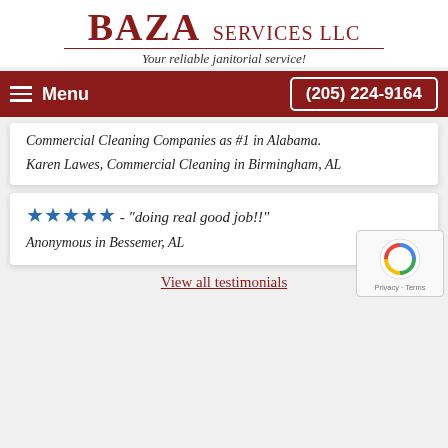BAZA SERVICES LLC
Your reliable janitorial service!
Menu  (205) 224-9164
Commercial Cleaning Companies as #1 in Alabama.
Karen Lawes, Commercial Cleaning in Birmingham, AL
★★★★★ - "doing real good job!!"
Anonymous in Bessemer, AL
View all testimonials